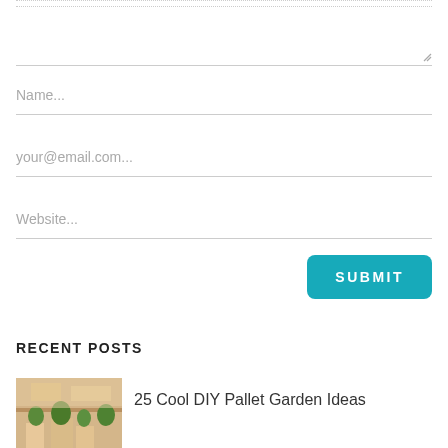[Figure (screenshot): Web comment form with textarea, name, email, website fields and a teal SUBMIT button]
RECENT POSTS
[Figure (photo): Thumbnail photo of a DIY pallet garden]
25 Cool DIY Pallet Garden Ideas